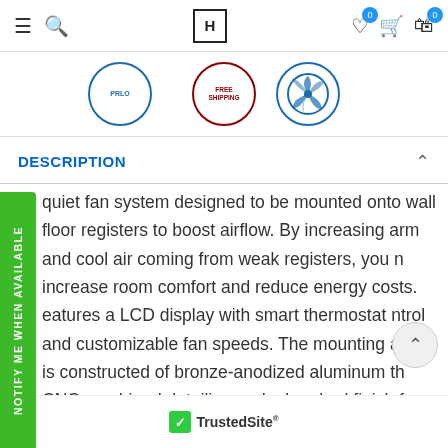[Figure (screenshot): Website navigation bar with hamburger menu, search icon, brand logo box, heart/wishlist icon with badge '0', cart icon with badge '0']
[Figure (illustration): Three circular badge/seal icons: a partial blue PRLO seal on the left, a red SHIPPING seal in the center, and a blue fan/leaf seal on the right]
DESCRIPTION
[Figure (other): Green vertical sidebar button reading 'NOTIFY ME WHEN AVAILABLE']
quiet fan system designed to be mounted onto wall floor registers to boost airflow. By increasing arm and cool air coming from weak registers, you n increase room comfort and reduce energy costs. eatures a LCD display with smart thermostat ntrol and customizable fan speeds. The mounting ame is constructed of bronze-anodized aluminum th CNC-machined detailing and a brushed finish for a professional appearance. Features PWM-
[Figure (logo): TrustedSite logo with green checkmark badge and text 'TrustedSite']